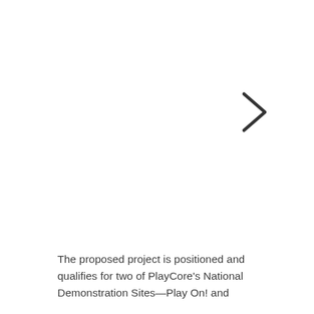[Figure (other): A right-pointing chevron/arrow symbol (›) positioned in the upper-right area of the page]
The proposed project is positioned and qualifies for two of PlayCore's National Demonstration Sites—Play On! and